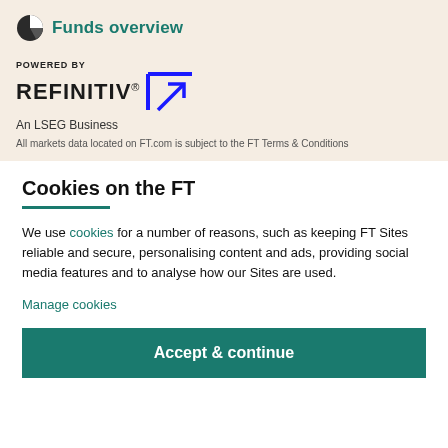Funds overview
[Figure (logo): Refinitiv logo with POWERED BY text and geometric arrow symbol, An LSEG Business]
All markets data located on FT.com is subject to the FT Terms & Conditions
Cookies on the FT
We use cookies for a number of reasons, such as keeping FT Sites reliable and secure, personalising content and ads, providing social media features and to analyse how our Sites are used.
Manage cookies
Accept & continue